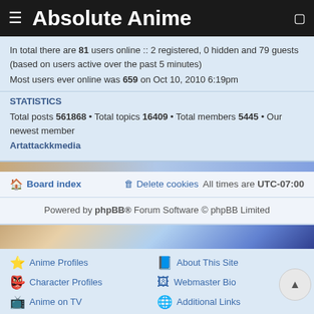Absolute Anime
In total there are 81 users online :: 2 registered, 0 hidden and 79 guests (based on users active over the past 5 minutes)
Most users ever online was 659 on Oct 10, 2010 6:19pm
STATISTICS
Total posts 561868 • Total topics 16409 • Total members 5445 • Our newest member Artattackkmedia
Board index   Delete cookies   All times are UTC-07:00
Powered by phpBB® Forum Software © phpBB Limited
Anime Profiles
Character Profiles
Anime on TV
Anime Forums
Image Gallery
Latest News
About This Site
Webmaster Bio
Additional Links
My Reviews
HDLoader List
Directory Listing
Google Custom Search   Search